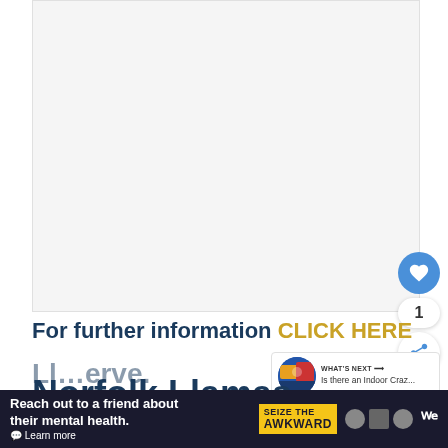[Figure (photo): Large image area (mostly white/blank), appears to be a photo placeholder for Norfolk Llamas content]
For further information CLICK HERE
[Figure (screenshot): What's Next panel showing thumbnail image with text 'Is there an Indoor Craz...']
Norfolk Llamas
[Figure (infographic): Advertisement banner: Reach out to a friend about their mental health. Learn more. SEIZE THE AWKWARD]